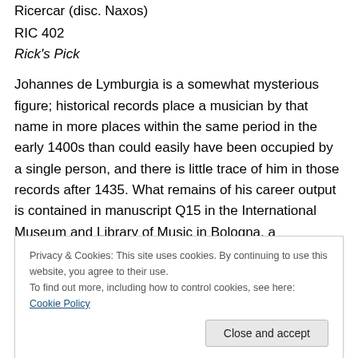Ricercar (disc. Naxos)
RIC 402
Rick's Pick
Johannes de Lymburgia is a somewhat mysterious figure; historical records place a musician by that name in more places within the same period in the early 1400s than could easily have been occupied by a single person, and there is little trace of him in those records after 1435. What remains of his career output is contained in manuscript Q15 in the International Museum and Library of Music in Bologna, a manuscript that was so damaged over time
Privacy & Cookies: This site uses cookies. By continuing to use this website, you agree to their use. To find out more, including how to control cookies, see here: Cookie Policy
Close and accept
and to have been a significant contributor to the